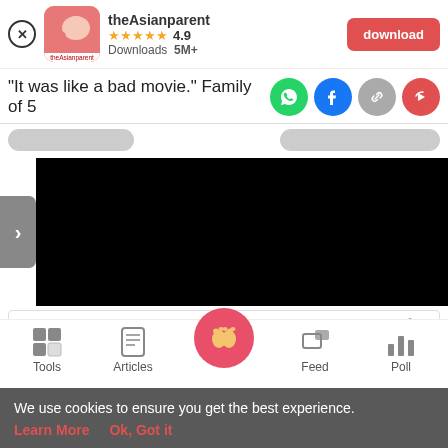[Figure (screenshot): App install banner for theAsianparent app showing close button, app icon, star rating of 4.9, 5M+ downloads, and a red download button]
"It was like a bad movie." Family of 5
[Figure (infographic): Social share icons: WhatsApp (green), Facebook (blue), link (grey), share (red)]
[Figure (screenshot): Navigation pills and a video player area with a black video frame and a grey navigation arrow]
[Figure (screenshot): Advertisement banner: Snack Time Made Easy - Wegmans with orange logo and blue diamond arrow]
[Figure (screenshot): Bottom navigation bar with Tools, Articles, home button (pink circle with footprints), Feed, Poll icons]
We use cookies to ensure you get the best experience.
Learn More    Ok, Got it